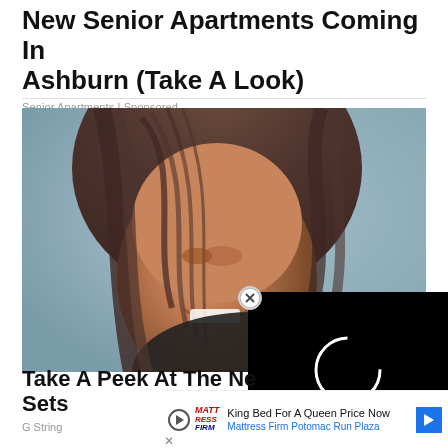New Senior Apartments Coming In Ashburn (Take A Look)
Senior Apartments | Sponsored
[Figure (photo): Smiling woman with long wavy brown hair, partially obscuring her face, wearing a black top]
Take A Peek At The Ne... Sets
G String
[Figure (screenshot): Black video loading overlay with circular spinner and close button (X)]
King Bed For A Queen Price Now Mattress Firm Potomac Run Plaza